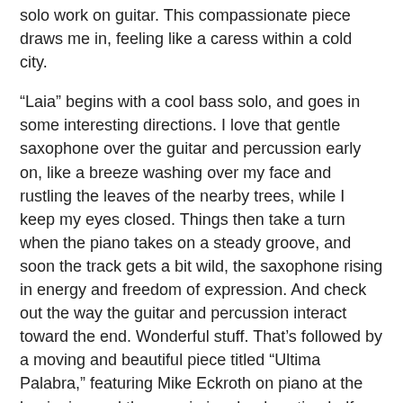solo work on guitar. This compassionate piece draws me in, feeling like a caress within a cold city.
“Laia” begins with a cool bass solo, and goes in some interesting directions. I love that gentle saxophone over the guitar and percussion early on, like a breeze washing over my face and rustling the leaves of the nearby trees, while I keep my eyes closed. Things then take a turn when the piano takes on a steady groove, and soon the track gets a bit wild, the saxophone rising in energy and freedom of expression. And check out the way the guitar and percussion interact toward the end. Wonderful stuff. That’s followed by a moving and beautiful piece titled “Ultima Palabra,” featuring Mike Eckroth on piano at the beginning and then again in a lead section halfway through that is excellent. Peter Slavov turns in a wonderful lead on bass in the second half of the song. But Greg Diamond’s work on guitar here is the heart of the piece, and is what makes this track one of my favorites.
Greg Diamond concludes the CD with “Motion Suite,” which at times is a more joyful piece, with the vibe of a busy optimism. I love that piano. Ah, maybe we just need to keep